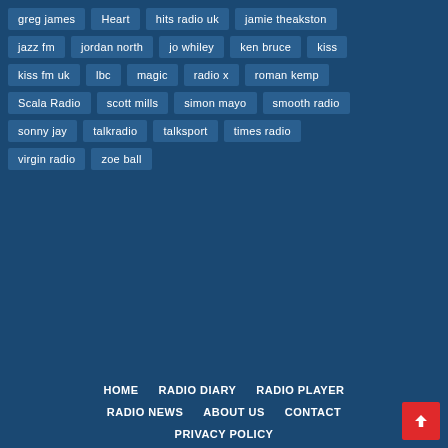greg james
Heart
hits radio uk
jamie theakston
jazz fm
jordan north
jo whiley
ken bruce
kiss
kiss fm uk
lbc
magic
radio x
roman kemp
Scala Radio
scott mills
simon mayo
smooth radio
sonny jay
talkradio
talksport
times radio
virgin radio
zoe ball
HOME   RADIO DIARY   RADIO PLAYER   RADIO NEWS   ABOUT US   CONTACT   PRIVACY POLICY